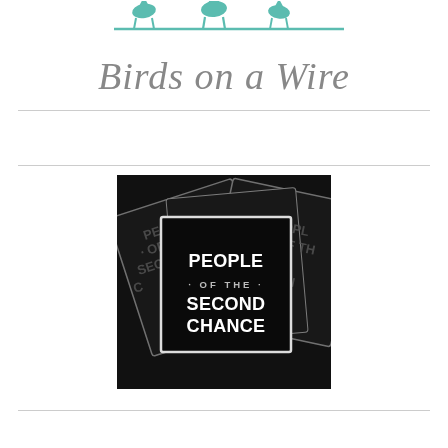[Figure (logo): Birds on a Wire logo: teal/green illustrated birds sitting on a wire above italic gray script text reading 'Birds on a Wire']
[Figure (photo): Black and white photo of stacked sticker cards reading 'PEOPLE OF THE SECOND CHANCE' with a prominent front card in a white-bordered black square design]